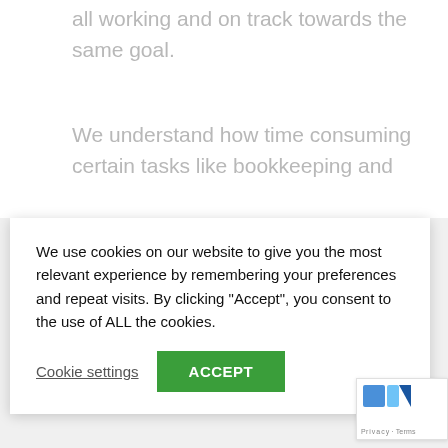all working and on track towards the same goal.
We understand how time consuming certain tasks like bookkeeping and
We use cookies on our website to give you the most relevant experience by remembering your preferences and repeat visits. By clicking "Accept", you consent to the use of ALL the cookies.
Cookie settings  ACCEPT
continue to run your business successfully.
Call us now on 020 8780 2349 to arrange a meeting to discuss our